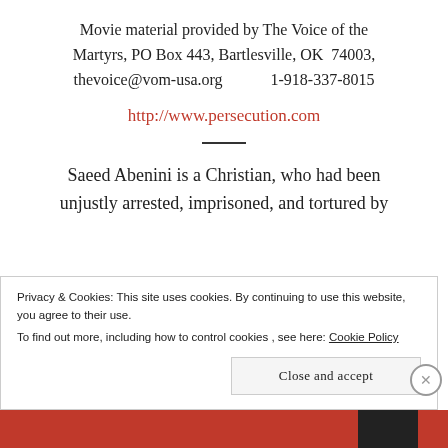Movie material provided by The Voice of the Martyrs, PO Box 443, Bartlesville, OK  74003, thevoice@vom-usa.org          1-918-337-8015
http://www.persecution.com
Saeed Abenini is a Christian, who had been unjustly arrested, imprisoned, and tortured by
Privacy & Cookies: This site uses cookies. By continuing to use this website, you agree to their use.
To find out more, including how to control cookies, see here: Cookie Policy
Close and accept